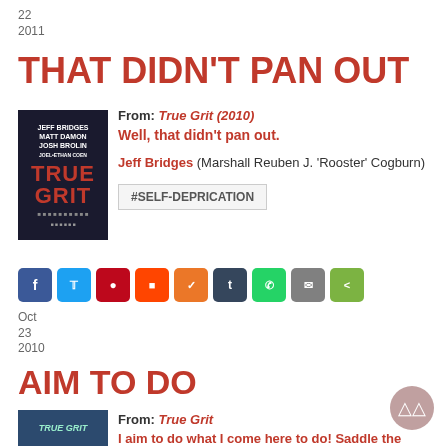22
2011
THAT DIDN'T PAN OUT
[Figure (illustration): Book cover for True Grit (2010) with Jeff Bridges, Matt Damon, Josh Brolin]
From: True Grit (2010)
Well, that didn't pan out.
Jeff Bridges (Marshall Reuben J. 'Rooster' Cogburn)
#SELF-DEPRICATION
[Figure (infographic): Social share buttons: Facebook, Twitter, Pinterest, Reddit, StumbleUpon, Tumblr, WhatsApp, Email, Share]
Oct
23
2010
AIM TO DO
[Figure (illustration): Book cover for True Grit]
From: True Grit
I aim to do what I come here to do! Saddle the horses.